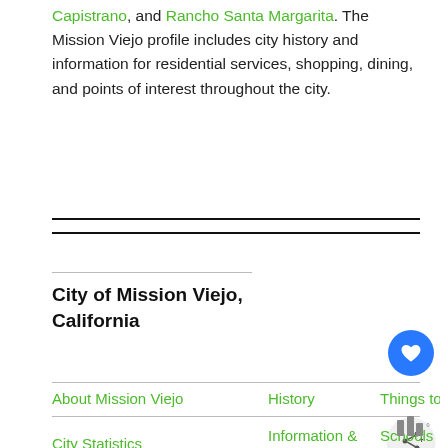Capistrano, and Rancho Santa Margarita. The Mission Viejo profile includes city history and information for residential services, shopping, dining, and points of interest throughout the city.
City of Mission Viejo, California
About Mission Viejo
History
Things to Do
City Statistics
Information & Services
Schools & Libraries